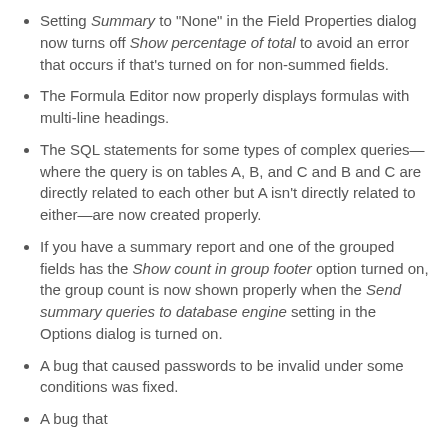Setting Summary to "None" in the Field Properties dialog now turns off Show percentage of total to avoid an error that occurs if that's turned on for non-summed fields.
The Formula Editor now properly displays formulas with multi-line headings.
The SQL statements for some types of complex queries—where the query is on tables A, B, and C and B and C are directly related to each other but A isn't directly related to either—are now created properly.
If you have a summary report and one of the grouped fields has the Show count in group footer option turned on, the group count is now shown properly when the Send summary queries to database engine setting in the Options dialog is turned on.
A bug that caused passwords to be invalid under some conditions was fixed.
A bug that...